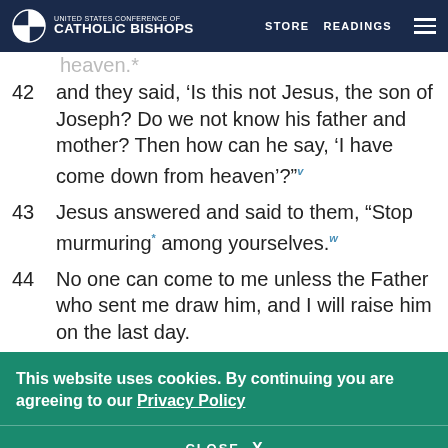United States Conference of Catholic Bishops | STORE | READINGS
heaven.*
42 and they said, ‘Is this not Jesus, the son of Joseph? Do we not know his father and mother? Then how can he say, ‘I have come down from heaven’?”v
43 Jesus answered and said to them, “Stop murmuring* among yourselves.w
44 No one can come to me unless the Father who sent me draw him, and I will raise him on the last day.
This website uses cookies. By continuing you are agreeing to our Privacy Policy
CLOSE X